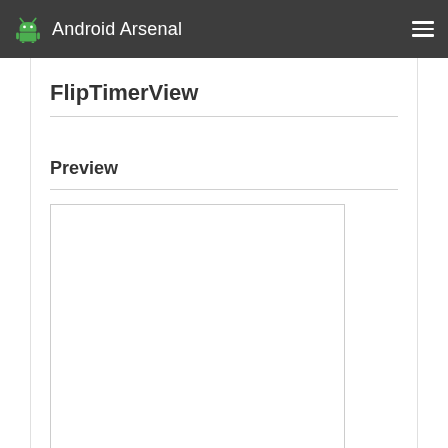Android Arsenal
FlipTimerView
Preview
[Figure (screenshot): Empty white preview box with light gray border]